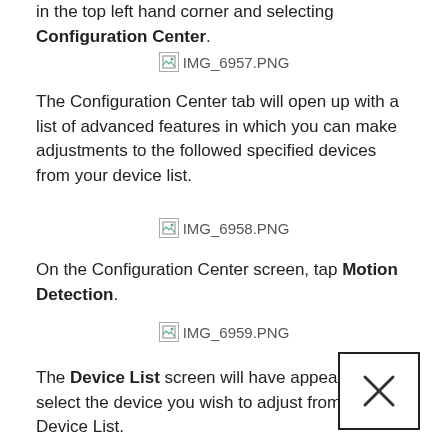in the top left hand corner and selecting Configuration Center.
[Figure (screenshot): IMG_6957.PNG placeholder image]
The Configuration Center tab will open up with a list of advanced features in which you can make adjustments to the followed specified devices from your device list.
[Figure (screenshot): IMG_6958.PNG placeholder image]
On the Configuration Center screen, tap Motion Detection.
[Figure (screenshot): IMG_6959.PNG placeholder image]
The Device List screen will have appeared. Now select the device you wish to adjust from the Device List.